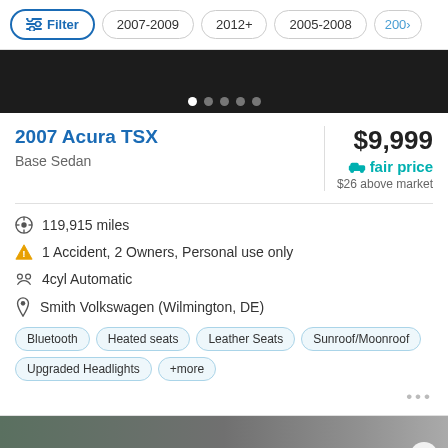Filter | 2007-2009 | 2012+ | 2005-2008 | 2009>
[Figure (photo): Top portion of a dark car image with pagination dots showing 5 dots, first dot active/white]
2007 Acura TSX
Base Sedan
$9,999
fair price
$26 above market
119,915 miles
1 Accident, 2 Owners, Personal use only
4cyl Automatic
Smith Volkswagen (Wilmington, DE)
Bluetooth | Heated seats | Leather Seats | Sunroof/Moonroof | Upgraded Headlights | +more
[Figure (photo): Bottom portion of a car listing image with a white heart/favorite button in the bottom right corner]